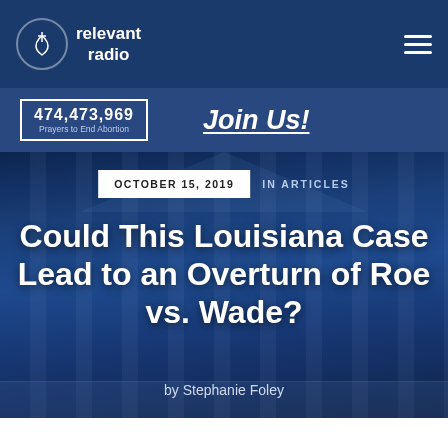Relevant Radio
474,473,969 Prayers to End Abortion
Join Us!
[Figure (photo): Photo of the United States Supreme Court building with classical columns against a deep blue sky, overlaid with dark blue tint]
OCTOBER 15, 2019  IN ARTICLES
Could This Louisiana Case Lead to an Overturn of Roe vs. Wade?
by Stephanie Foley